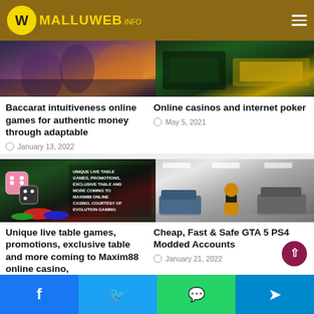MALLUWEB.INFO
[Figure (photo): Baccarat/casino themed image with colorful figures and city lights]
[Figure (photo): Online casino/poker table with green felt and cards]
Baccarat intuitiveness online games for authentic money through adaptable
January 13, 2022
Online casinos and internet poker
May 5, 2021
[Figure (photo): Unique live table games casino promotion with dice and chips - Maxim88 online casino by Evolution Gaming]
[Figure (photo): GTA 5 character standing in parking garage with vehicles]
Unique live table games, promotions, exclusive table and more coming to Maxim88 online casino,
Cheap, Fast & Safe GTA 5 PS4 Modded Accounts
January 21, 2022
Facebook | Twitter | WhatsApp | Telegram